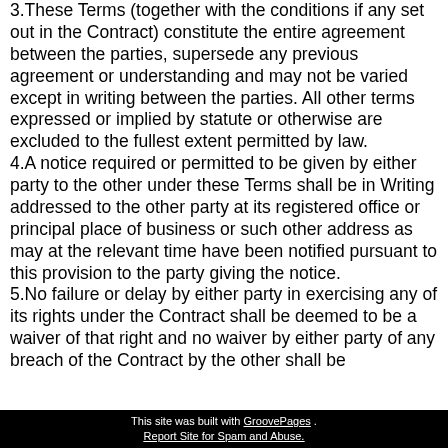3.These Terms (together with the conditions if any set out in the Contract) constitute the entire agreement between the parties, supersede any previous agreement or understanding and may not be varied except in writing between the parties. All other terms expressed or implied by statute or otherwise are excluded to the fullest extent permitted by law. 4.A notice required or permitted to be given by either party to the other under these Terms shall be in Writing addressed to the other party at its registered office or principal place of business or such other address as may at the relevant time have been notified pursuant to this provision to the party giving the notice. 5.No failure or delay by either party in exercising any of its rights under the Contract shall be deemed to be a waiver of that right and no waiver by either party of any breach of the Contract by the other shall be
This site was built with GroovePages . Report Site for Spam and Abuse.